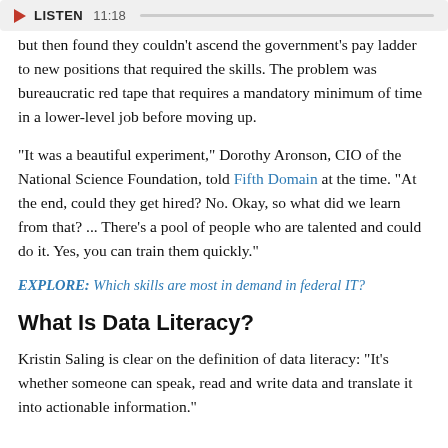[Figure (other): Audio player bar with play button, LISTEN label, time 11:18, and progress bar]
but then found they couldn't ascend the government's pay ladder to new positions that required the skills. The problem was bureaucratic red tape that requires a mandatory minimum of time in a lower-level job before moving up.
"It was a beautiful experiment," Dorothy Aronson, CIO of the National Science Foundation, told Fifth Domain at the time. "At the end, could they get hired? No. Okay, so what did we learn from that? ... There's a pool of people who are talented and could do it. Yes, you can train them quickly."
EXPLORE: Which skills are most in demand in federal IT?
What Is Data Literacy?
Kristin Saling is clear on the definition of data literacy: "It's whether someone can speak, read and write data and translate it into actionable information."